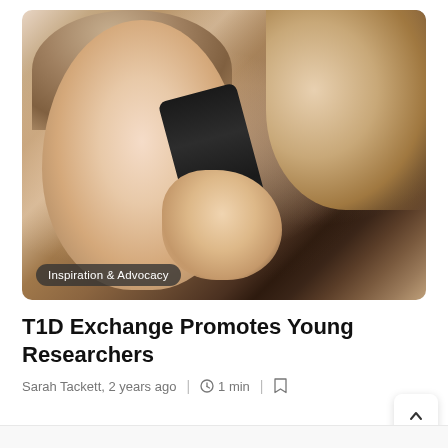[Figure (photo): A young girl having her eye examined with an ophthalmoscope by a medical professional. Close-up photo with soft lighting. A tag badge reading 'Inspiration & Advocacy' is overlaid at the bottom-left of the image.]
T1D Exchange Promotes Young Researchers
Sarah Tackett, 2 years ago | 1 min |